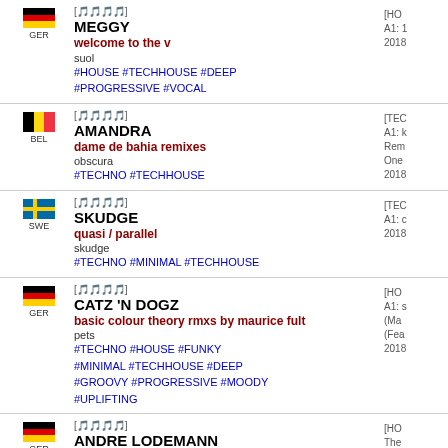GER | [rating] MEGGY | welcome to the v | suol | #HOUSE #TECHHOUSE #DEEP #PROGRESSIVE #VOCAL
BEL | [rating] AMANDRA | dame de bahia remixes | obscura | #TECHNO #TECHHOUSE
SWE | [rating] SKUDGE | quasi / parallel | skudge | #TECHNO #MINIMAL #TECHHOUSE
GER | [rating] CATZ 'N DOGZ | basic colour theory rmxs by maurice fult | pets | #TECHNO #HOUSE #FUNKY #MINIMAL #TECHHOUSE #DEEP #GROOVY #PROGRESSIVE #MOODY #UPLIFTING
GER | [rating] ANDRE LODEMANN | the deeper you go | best works records | #TECHNO #HOUSE #TECHHOUSE #TRANCY #PROGRESSIVE
GER | [rating] RAY MONO | first contact